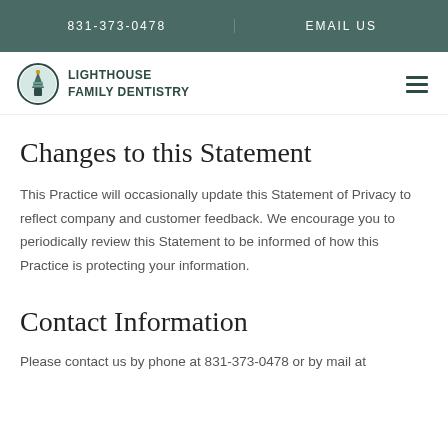831-373-0478   EMAIL US
[Figure (logo): Lighthouse Family Dentistry logo with oval lighthouse icon and bold text]
Changes to this Statement
This Practice will occasionally update this Statement of Privacy to reflect company and customer feedback. We encourage you to periodically review this Statement to be informed of how this Practice is protecting your information.
Contact Information
Please contact us by phone at 831-373-0478 or by mail at